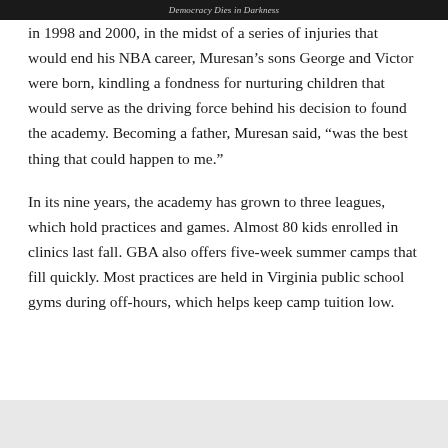Democracy Dies in Darkness
in 1998 and 2000, in the midst of a series of injuries that would end his NBA career, Muresan’s sons George and Victor were born, kindling a fondness for nurturing children that would serve as the driving force behind his decision to found the academy. Becoming a father, Muresan said, “was the best thing that could happen to me.”
In its nine years, the academy has grown to three leagues, which hold practices and games. Almost 80 kids enrolled in clinics last fall. GBA also offers five-week summer camps that fill quickly. Most practices are held in Virginia public school gyms during off-hours, which helps keep camp tuition low.